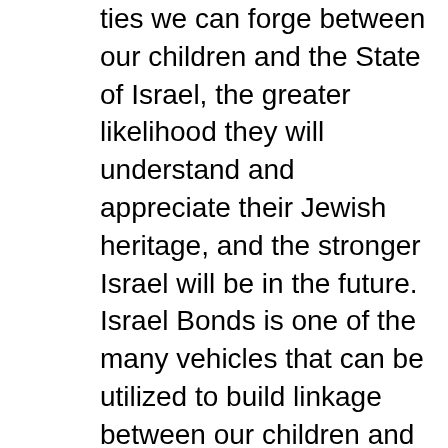ties we can forge between our children and the State of Israel, the greater likelihood they will understand and appreciate their Jewish heritage, and the stronger Israel will be in the future. Israel Bonds is one of the many vehicles that can be utilized to build linkage between our children and Israel. By gifting an Israel Bond, we send a message to our children that it is as important to loan our monies to Israel as it is to make charitable gifts to our Jewish homeland. At the same time you are teaching your children about making wise investment decisions. Israel has a 100% perfect record of payment of principal and interest on Israel Bonds. The purchase of an Israel Bond is a meaningful expression of commitment to the future strength of the State of Israel and helps to build every aspect of Israel's economy, making it both strong and resilient. For more information, contact Cynthia Blustein, Development Corporation for Israel, at 914-713-9003 or make a purchase and review rates and